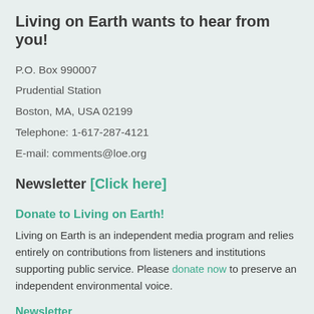Living on Earth wants to hear from you!
P.O. Box 990007
Prudential Station
Boston, MA, USA 02199
Telephone: 1-617-287-4121
E-mail: comments@loe.org
Newsletter [Click here]
Donate to Living on Earth!
Living on Earth is an independent media program and relies entirely on contributions from listeners and institutions supporting public service. Please donate now to preserve an independent environmental voice.
Newsletter
Living on Earth offers a weekly delivery of the show's